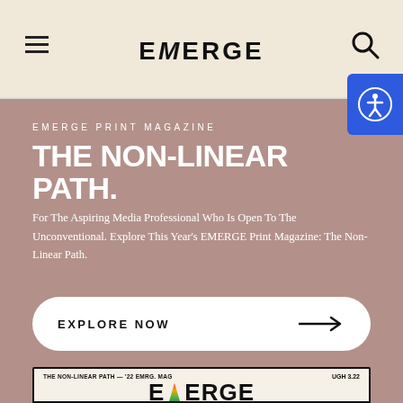EMERGE
EMERGE PRINT MAGAZINE
THE NON-LINEAR PATH.
For The Aspiring Media Professional Who Is Open To The Unconventional. Explore This Year's EMERGE Print Magazine: The Non-Linear Path.
EXPLORE NOW →
[Figure (photo): EMERGE magazine cover preview showing 'THE NON-LINEAR PATH — '22 EMRG. MAG' text and 'UGH 3.22' label, with large EMERGE logo and colorful triangle/flame graphic in the letter M]